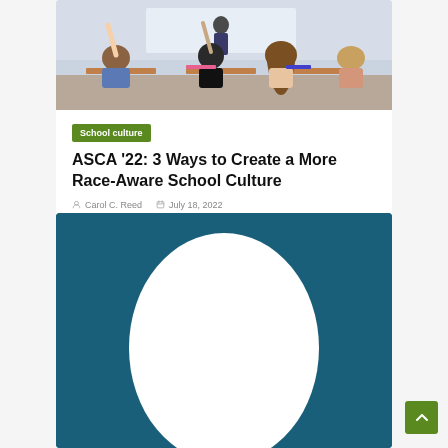[Figure (photo): Classroom photo showing students from behind with hands raised, teacher at front of room]
School culture
ASCA '22: 3 Ways to Create a More Race-Aware School Culture
Carol C. Reed   July 18, 2022
[Figure (photo): Dark teal background with a large white circular/oval shape, partial view of second article card]